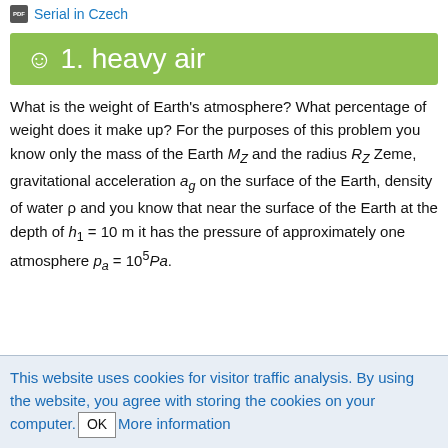Serial in Czech
☺1. heavy air
What is the weight of Earth's atmosphere? What percentage of weight does it make up? For the purposes of this problem you know only the mass of the Earth M_Z and the radius R_Z Zeme, gravitational acceleration a_g on the surface of the Earth, density of water ρ and you know that near the surface of the Earth at the depth of h_1 = 10 m it has the pressure of approximately one atmosphere p_a = 10^5 Pa.
This website uses cookies for visitor traffic analysis. By using the website, you agree with storing the cookies on your computer. OK More information